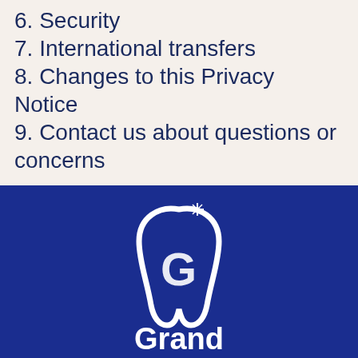6. Security
7. International transfers
8. Changes to this Privacy Notice
9. Contact us about questions or concerns
[Figure (logo): Grand Dental logo — white tooth outline with a stylized 'G' inside and a sparkle at top, with text 'Grand Dental' below, on dark blue background]
Schedule   Call   Map